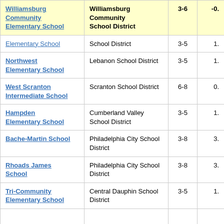| School | District | Grades |  |
| --- | --- | --- | --- |
| Williamsburg Community Elementary School | Williamsburg Community School District | 3-6 | -0. |
| [Elementary School] | School District | 3-5 | 1. |
| Northwest Elementary School | Lebanon School District | 3-5 | 1. |
| West Scranton Intermediate School | Scranton School District | 6-8 | 0. |
| Hampden Elementary School | Cumberland Valley School District | 3-5 | 1. |
| Bache-Martin School | Philadelphia City School District | 3-8 | 3. |
| Rhoads James School | Philadelphia City School District | 3-8 | 3. |
| Tri-Community Elementary School | Central Dauphin School District | 3-5 | 1. |